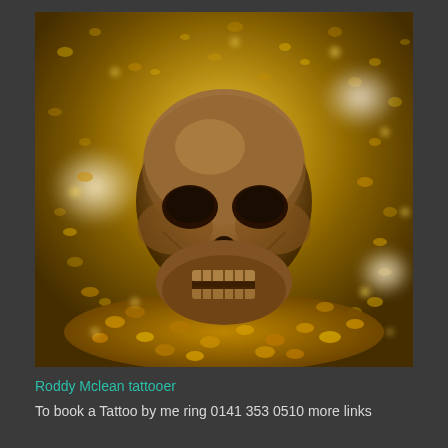[Figure (photo): A human skull surrounded by gold coins and glittering gold particles, photographed in a dramatic close-up with golden bokeh lighting effects.]
Roddy Mclean tattooer
To book a Tattoo by me ring 0141 353 0510 more links